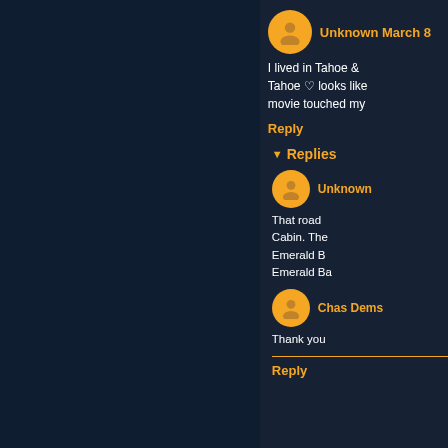Unknown March 8
I lived in Tahoe & Tahoe ♡ looks like movie touched my
Reply
Replies
Unknown
That road Cabin. The Emerald B Emerald Ba
Chas Dems
Thank you
Reply